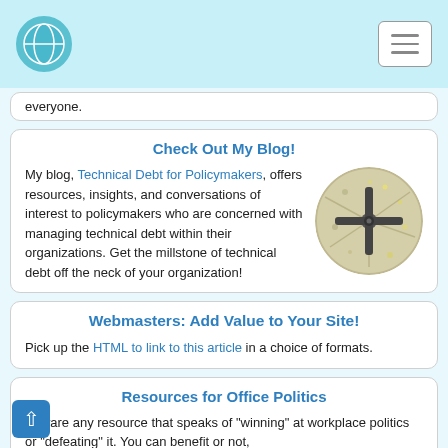Navigation header with logo and hamburger menu
everyone.
Check Out My Blog!
My blog, Technical Debt for Policymakers, offers resources, insights, and conversations of interest to policymakers who are concerned with managing technical debt within their organizations. Get the millstone of technical debt off the neck of your organization!
[Figure (photo): Circular photo of a millstone with a metal cross mount, viewed from above]
Webmasters: Add Value to Your Site!
Pick up the HTML to link to this article in a choice of formats.
Resources for Office Politics
Beware any resource that speaks of "winning" at workplace politics or "defeating" it. You can benefit or not,